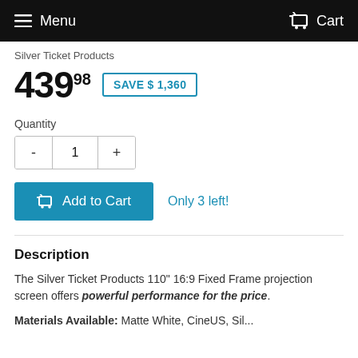Menu   Cart
Silver Ticket Products
439.98  SAVE $ 1,360
Quantity
- 1 +
Add to Cart   Only 3 left!
Description
The Silver Ticket Products 110" 16:9 Fixed Frame projection screen offers powerful performance for the price.
Materials Available: Matte White, CineUS, Sil...